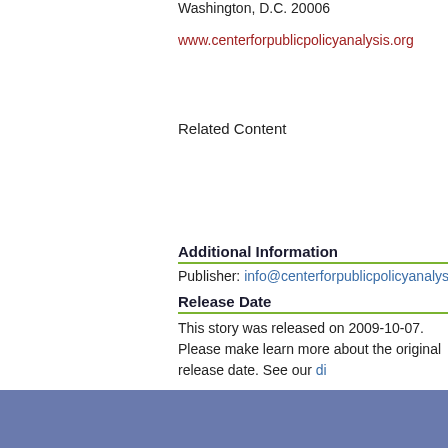Washington, D.C. 20006
www.centerforpublicpolicyanalysis.org
Related Content
Additional Information
Publisher: info@centerforpublicpolicyanalysis.org
Release Date
This story was released on 2009-10-07. Please make learn more about the original release date. See our di